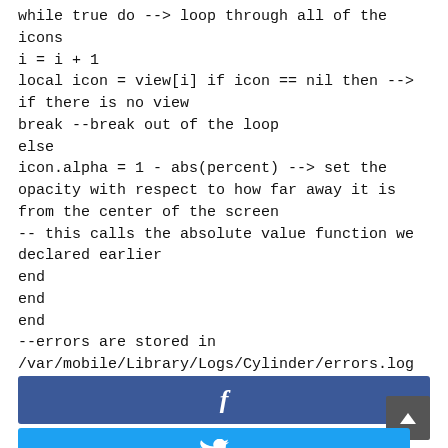while true do --> loop through all of the icons
i = i + 1
local icon = view[i] if icon == nil then --> if there is no view
break --break out of the loop
else
icon.alpha = 1 - abs(percent) --> set the opacity with respect to how far away it is from the center of the screen
-- this calls the absolute value function we declared earlier
end
end
end
--errors are stored in /var/mobile/Library/Logs/Cylinder/errors.log
[Figure (other): Facebook share button bar (dark blue with white 'f' icon)]
[Figure (other): Twitter share button bar (light blue, partially visible at bottom)]